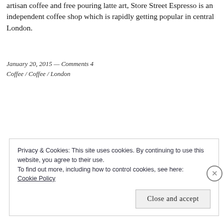artisan coffee and free pouring latte art, Store Street Espresso is an independent coffee shop which is rapidly getting popular in central London.
January 20, 2015 — Comments 4
Coffee / Coffee / London
Privacy & Cookies: This site uses cookies. By continuing to use this website, you agree to their use.
To find out more, including how to control cookies, see here: Cookie Policy
Close and accept